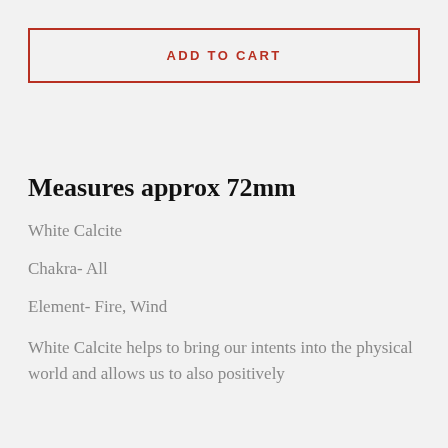ADD TO CART
Measures approx 72mm
White Calcite
Chakra- All
Element- Fire, Wind
White Calcite helps to bring our intents into the physical world and allows us to also positively